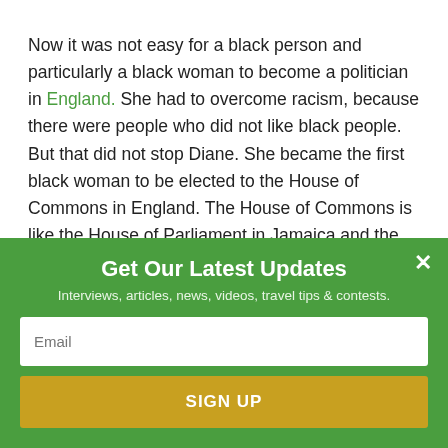Now it was not easy for a black person and particularly a black woman to become a politician in England. She had to overcome racism, because there were people who did not like black people. But that did not stop Diane. She became the first black woman to be elected to the House of Commons in England. The House of Commons is like the House of Parliament in Jamaica and the Congress in the
Get Our Latest Updates
Interviews, articles, news, videos, travel tips & contests.